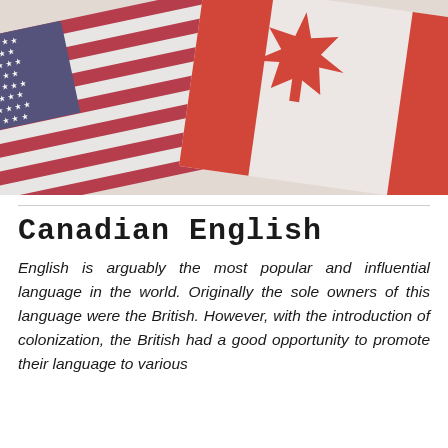[Figure (photo): Photo of two overlapping flags — the United States flag (left) and the Canadian flag (right) — placed at an angle against a light textured background.]
Canadian English
English is arguably the most popular and influential language in the world. Originally the sole owners of this language were the British. However, with the introduction of colonization, the British had a good opportunity to promote their language to various